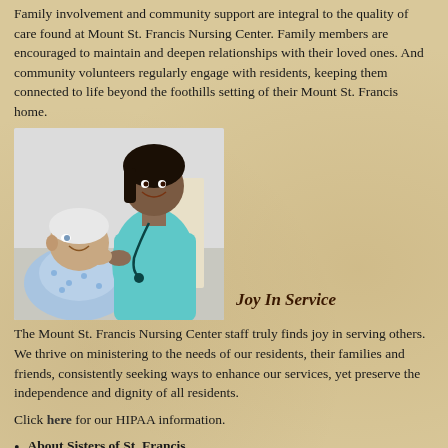Family involvement and community support are integral to the quality of care found at Mount St. Francis Nursing Center. Family members are encouraged to maintain and deepen relationships with their loved ones. And community volunteers regularly engage with residents, keeping them connected to life beyond the foothills setting of their Mount St. Francis home.
[Figure (photo): A smiling nurse in teal scrubs leaning over an elderly male patient who is sitting up and smiling back at her.]
Joy In Service
The Mount St. Francis Nursing Center staff truly finds joy in serving others. We thrive on ministering to the needs of our residents, their families and friends, consistently seeking ways to enhance our services, yet preserve the independence and dignity of all residents.
Click here for our HIPAA information.
About Sisters of St. Francis